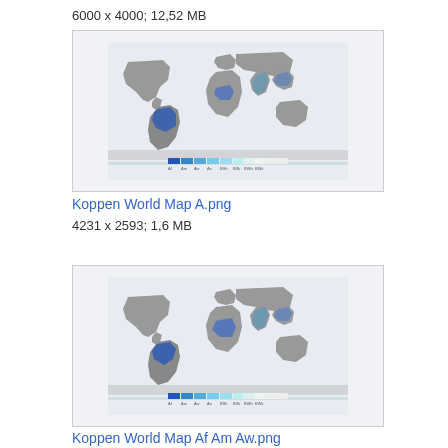6000 x 4000; 12,52 MB
[Figure (map): Koppen World Map thumbnail showing climate zones with blue highlighted regions for tropical climates]
Koppen World Map A.png
4231 x 2593; 1,6 MB
[Figure (map): Koppen World Map Af Am Aw thumbnail showing climate zones with blue highlighted regions for tropical climates]
Koppen World Map Af Am Aw.png